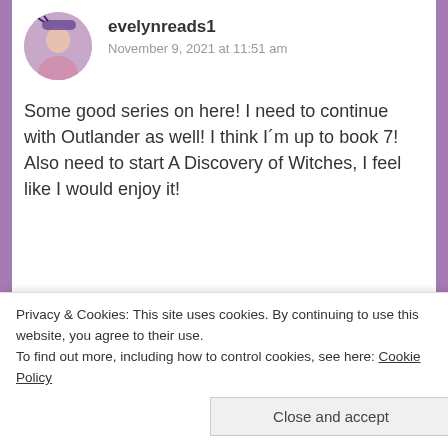evelynreads1
November 9, 2021 at 11:51 am
Some good series on here! I need to continue with Outlander as well! I think I´m up to book 7!
Also need to start A Discovery of Witches, I feel like I would enjoy it!
★ Liked by 1 person
REPLY
Leah's Books
Privacy & Cookies: This site uses cookies. By continuing to use this website, you agree to their use.
To find out more, including how to control cookies, see here: Cookie Policy
Close and accept